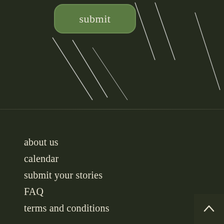[Figure (screenshot): Green rounded submit button on dark olive background with diagonal white decorative lines]
about us
calendar
submit your stories
FAQ
terms and conditions